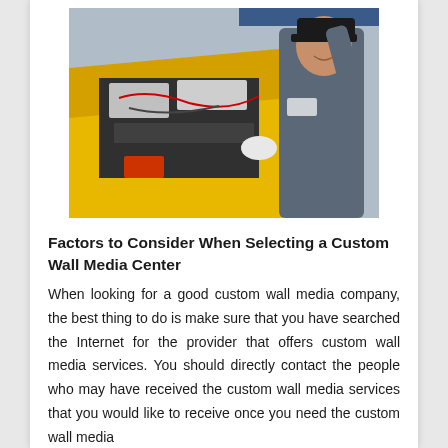[Figure (photo): A mechanic in a gray uniform and black cap smiling while working on the engine of a yellow vehicle in a garage, with the hood open.]
Factors to Consider When Selecting a Custom Wall Media Center
When looking for a good custom wall media company, the best thing to do is make sure that you have searched the Internet for the provider that offers custom wall media services. You should directly contact the people who may have received the custom wall media services that you would like to receive once you need the custom wall media